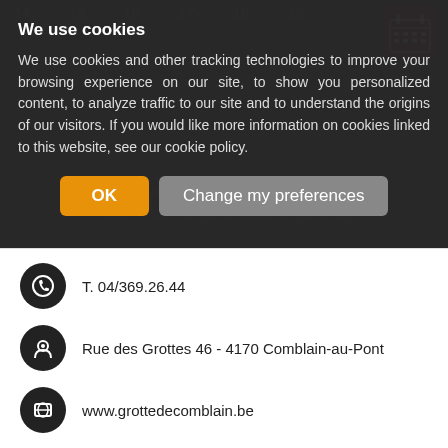We use cookies
We use cookies and other tracking technologies to improve your browsing experience on our site, to show you personalized content, to analyze traffic to our site and to understand the origins of our visitors. If you would like more information on cookies linked to this website, see our cookie policy.
T. 04/369.26.44
Rue des Grottes 46 - 4170 Comblain-au-Pont
www.grottedecomblain.be
info@decouvertes.be
Facebook